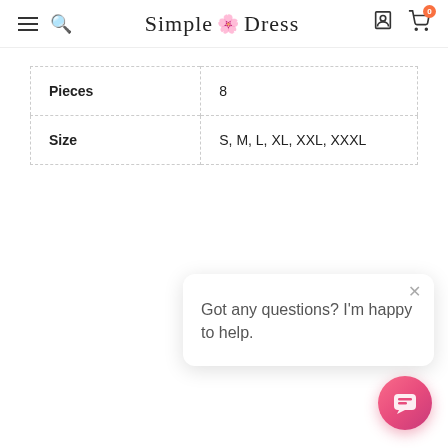Simple Dress
| Pieces | 8 |
| Size | S, M, L, XL, XXL, XXXL |
Got any questions? I'm happy to help.